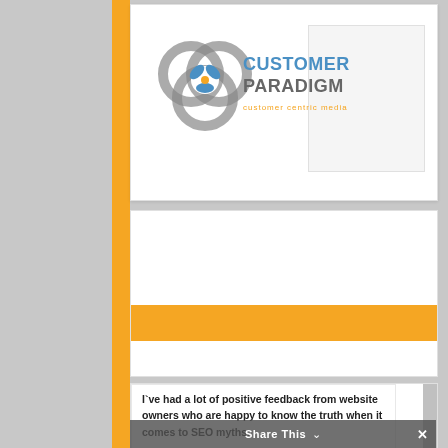[Figure (logo): Customer Paradigm logo with circular interlocking rings graphic and text 'CUSTOMER PARADIGM customer centric media']
I`ve had a lot of positive feedback from website owners who are happy to know the truth when it comes to SEO myths.
Share This